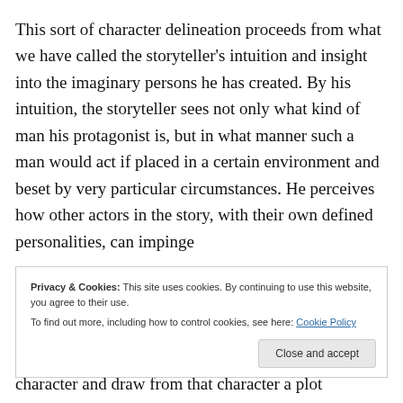This sort of character delineation proceeds from what we have called the storyteller's intuition and insight into the imaginary persons he has created. By his intuition, the storyteller sees not only what kind of man his protagonist is, but in what manner such a man would act if placed in a certain environment and beset by very particular circumstances. He perceives how other actors in the story, with their own defined personalities, can impinge on his character and draw from that character a plot consistent
Privacy & Cookies: This site uses cookies. By continuing to use this website, you agree to their use.
To find out more, including how to control cookies, see here: Cookie Policy